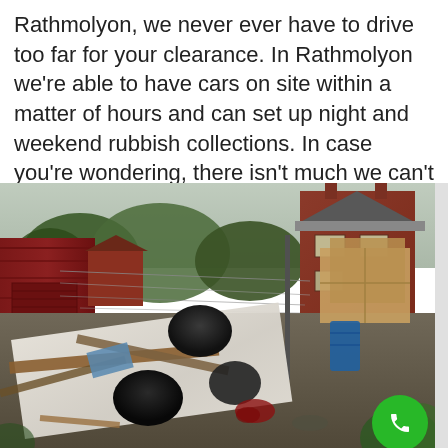Rathmolyon, we never ever have to drive too far for your clearance. In Rathmolyon we're able to have cars on site within a matter of hours and can set up night and weekend rubbish collections. In case you're wondering, there isn't much we can't draw from your home or service, or outdoors.
[Figure (photo): Photograph of a backyard or garden filled with rubbish and debris including white sheets, wooden planks, black bin bags, cardboard boxes, and various junk. A red wooden fence is on the left, a red brick building is visible in the background on the right, trees are visible behind the fence, and washing lines are strung across the yard.]